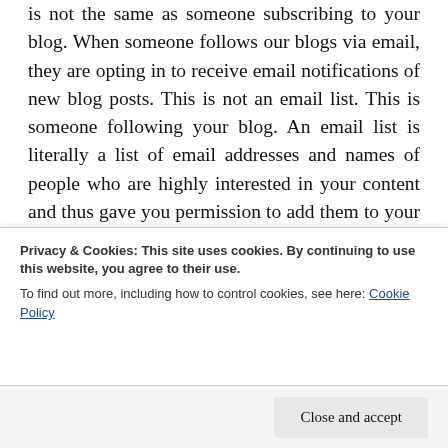is not the same as someone subscribing to your blog. When someone follows our blogs via email, they are opting in to receive email notifications of new blog posts. This is not an email list. This is someone following your blog. An email list is literally a list of email addresses and names of people who are highly interested in your content and thus gave you permission to add them to your list. The good thing about the blog is that many of those same blog subscribers can easily turn into email list subscribers. The email is essential for gazillion reasons but mainly, here is a direct line of communication. You can even monitor the open
Privacy & Cookies: This site uses cookies. By continuing to use this website, you agree to their use.
To find out more, including how to control cookies, see here: Cookie Policy
Close and accept